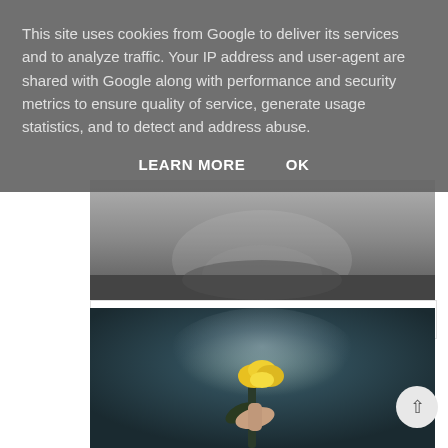This site uses cookies from Google to deliver its services and to analyze traffic. Your IP address and user-agent are shared with Google along with performance and security metrics to ensure quality of service, generate usage statistics, and to detect and address abuse.
LEARN MORE    OK
[Figure (photo): Black and white close-up photo (partially visible, upper portion)]
When Did 'Blogger' Become A Di...
[Figure (photo): A hand holding a yellow rose against a dark, misty teal background]